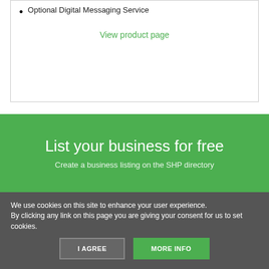Optional Digital Messaging Service
View product page
List your business for free
Create a business listing on the SHP directory
We use cookies on this site to enhance your user experience.
By clicking any link on this page you are giving your consent for us to set cookies.
I AGREE
MORE INFO